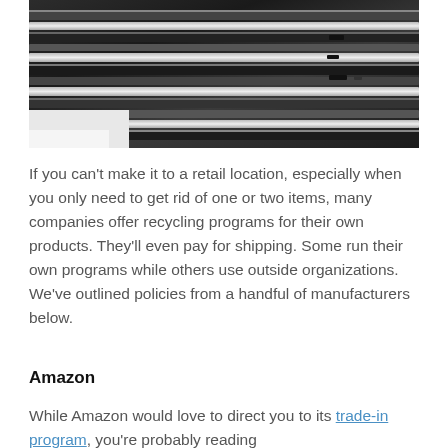[Figure (photo): Stack of multiple laptops piled on top of each other, viewed from the side, showing ports and edges. A white surface visible at the bottom left.]
If you can't make it to a retail location, especially when you only need to get rid of one or two items, many companies offer recycling programs for their own products. They'll even pay for shipping. Some run their own programs while others use outside organizations. We've outlined policies from a handful of manufacturers below.
Amazon
While Amazon would love to direct you to its trade-in program, you're probably reading